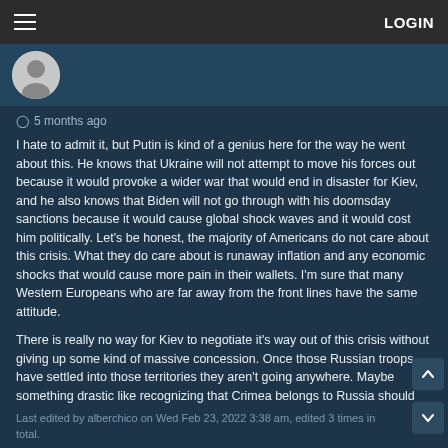LOGIN
[Figure (illustration): User avatar circle (gray) in a dark blue banner area]
5 months ago
I hate to admit it, but Putin is kind of a genius here for the way he went about this. He knows that Ukraine will not attempt to move his forces out because it would provoke a wider war that would end in disaster for Kiev, and he also knows that Biden will not go through with his doomsday sanctions because it would cause global shock waves and it would cost him politically. Let's be honest, the majority of Americans do not care about this crisis. What they do care about is runaway inflation and any economic shocks that would cause more pain in their wallets. I'm sure that many Western Europeans who are far away from the front lines have the same attitude.
There is really no way for Kiev to negotiate it's way out of this crisis without giving up some kind of massive concession. Once those Russian troops have settled into those territories they aren't going anywhere. Maybe something drastic like recognizing that Crimea belongs to Russia should be on the table at this point.
Last edited by alberchico on Wed Feb 23, 2022 3:38 am, edited 3 times in total.